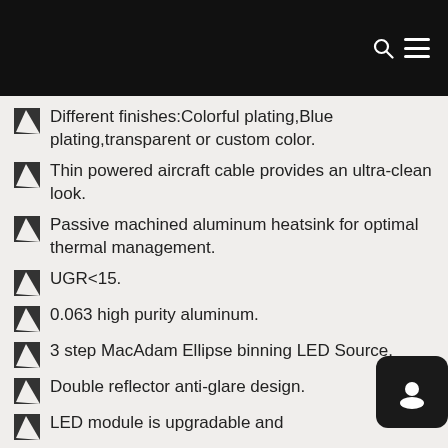Different finishes:Colorful plating,Blue plating,transparent or custom color.
Thin powered aircraft cable provides an ultra-clean look.
Passive machined aluminum heatsink for optimal thermal management.
UGR<15.
0.063 high purity aluminum.
3 step MacAdam Ellipse binning LED Source.
Double reflector anti-glare design.
LED module is upgradable and